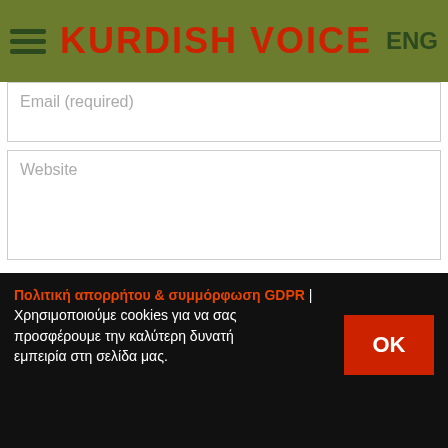KURDISH VOICE
Email (required)
Website
Save my name, email, and website in this browser for the next time I comment.
POST COMMENT
Πολιτική απορρήτου & συμμόρφωση GDPR | Χρησιμοποιούμε cookies για να σας προσφέρουμε την καλύτερη δυνατή εμπειρία στη σελίδα μας.
OK